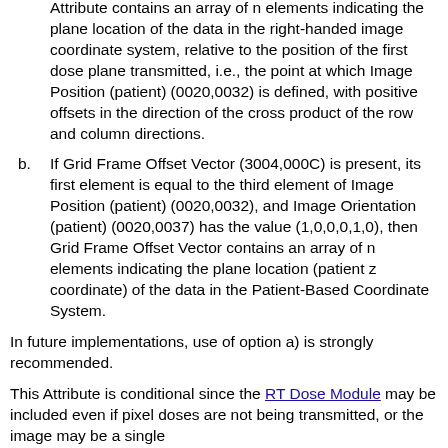Attribute contains an array of n elements indicating the plane location of the data in the right-handed image coordinate system, relative to the position of the first dose plane transmitted, i.e., the point at which Image Position (patient) (0020,0032) is defined, with positive offsets in the direction of the cross product of the row and column directions.
b. If Grid Frame Offset Vector (3004,000C) is present, its first element is equal to the third element of Image Position (patient) (0020,0032), and Image Orientation (patient) (0020,0037) has the value (1,0,0,0,1,0), then Grid Frame Offset Vector contains an array of n elements indicating the plane location (patient z coordinate) of the data in the Patient-Based Coordinate System.
In future implementations, use of option a) is strongly recommended.
This Attribute is conditional since the RT Dose Module may be included even if pixel doses are not being transmitted, or the image may be a single